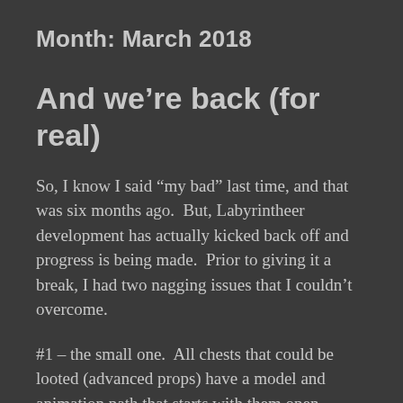Month: March 2018
And we’re back (for real)
So, I know I said “my bad” last time, and that was six months ago.  But, Labyrintheer development has actually kicked back off and progress is being made.  Prior to giving it a break, I had two nagging issues that I couldn’t overcome.
#1 – the small one.  All chests that could be looted (advanced props) have a model and animation path that starts with them open (more find in January). The first thing I had